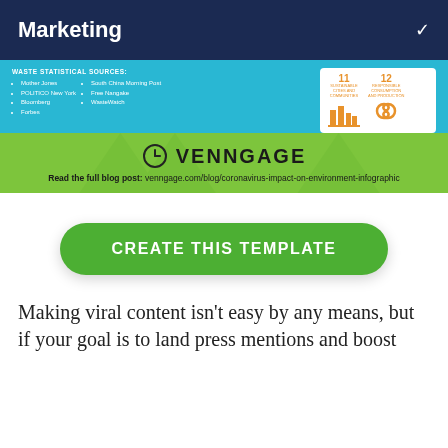Marketing
[Figure (infographic): Screenshot of an infographic footer section on a teal background showing 'WASTE STATISTICAL SOURCES:' with bullet lists including Mother Jones, POLITICO New York, Bloomberg, Forbes, South China Morning Post, Free Nangake, WasteWatch, alongside two SDG icons (SDG 11 Sustainable Cities and Communities, SDG 12 Responsible Consumption and Production). Below is a green Venngage-branded footer with logo and blog post URL.]
Read the full blog post: venngage.com/blog/coronavirus-impact-on-environment-infographic
CREATE THIS TEMPLATE
Making viral content isn't easy by any means, but if your goal is to land press mentions and boost